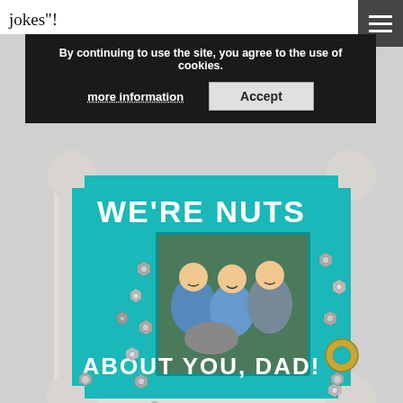jokes”!
[Figure (photo): A decorative teal/turquoise photo frame plaque with metal nuts and bolts attached around it, reading 'WE'RE NUTS ABOUT YOU, DAD!' with a photo of three boys smiling, mounted on a white door.]
By continuing to use the site, you agree to the use of cookies.
more information
Accept